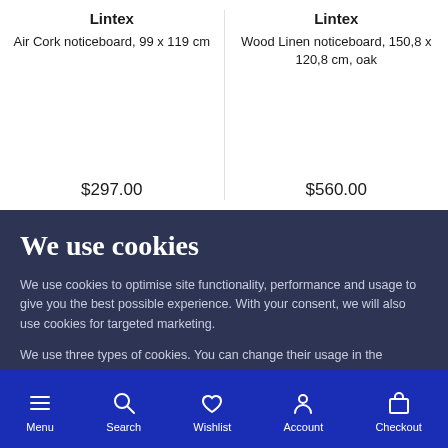Lintex
Air Cork noticeboard, 99 x 119 cm
$297.00
Lintex
Wood Linen noticeboard, 150,8 x 120,8 cm, oak
$560.00
We use cookies
We use cookies to optimise site functionality, performance and usage to give you the best possible experience. With your consent, we will also use cookies for targeted marketing.
We use three types of cookies. You can change their usage in the preferences.
Functional cookies
Statistical
Advertising
Accept
More information
Menu | Search | Wishlist | Account | Checkout